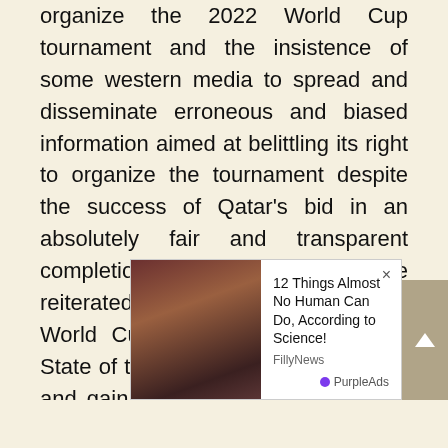organize the 2022 World Cup tournament and the insistence of some western media to spread and disseminate erroneous and biased information aimed at belittling its right to organize the tournament despite the success of Qatar's bid in an absolutely fair and transparent completion. The Conference reiterated that the hosting of the 2022 World Cup by Qatar – a Member State of the OIC – is an achievement and gain for OIC States and a right for peoples of the Muslim world. The Conference ... actions ... in the ... the State of Qatar in refuting the
[Figure (screenshot): Advertisement overlay showing a thumbnail image of a woman and text reading '12 Things Almost No Human Can Do, According to Science!' with source 'FillyNews' and 'PurpleAds' branding. A close button (×) appears top right and a scroll-up arrow button appears at far right.]